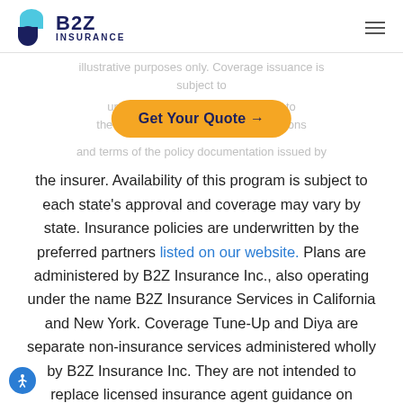[Figure (logo): B2Z Insurance logo with icon and text]
illustrative purposes only. Coverage issuance is subject to underwriting review and is subject to the conditions, limitations, exclusions and terms of the policy documentation issued by the insurer. Availability of this program is subject to each state's approval and coverage may vary by state. Insurance policies are underwritten by the preferred partners listed on our website. Plans are administered by B2Z Insurance Inc., also operating under the name B2Z Insurance Services in California and New York. Coverage Tune-Up and Diya are separate non-insurance services administered wholly by B2Z Insurance Inc. They are not intended to replace licensed insurance agent guidance on coverage. Copyright © 2022 B2Z